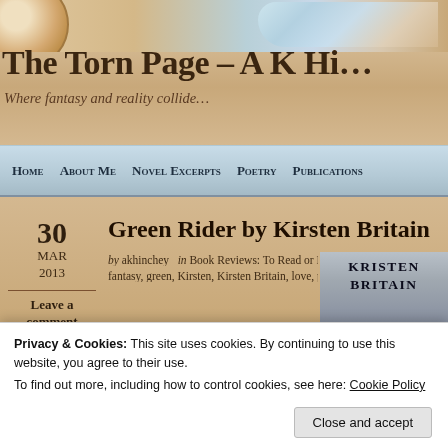The Torn Page – A K Hi...
Where fantasy and reality collide…
Home   About Me   Novel Excerpts   Poetry   Publications
30 Green Rider by Kirsten Britain
MAR 2013
by akhinchey   in Book Reviews: To Read or Not To Read??   fantasy, green, Kirsten, Kirsten Britain, love, poem, Poetry, rev...
Leave a comment
[Figure (photo): Book cover thumbnail showing 'KRISTEN BRITAIN' text]
Privacy & Cookies: This site uses cookies. By continuing to use this website, you agree to their use.
To find out more, including how to control cookies, see here: Cookie Policy
Close and accept